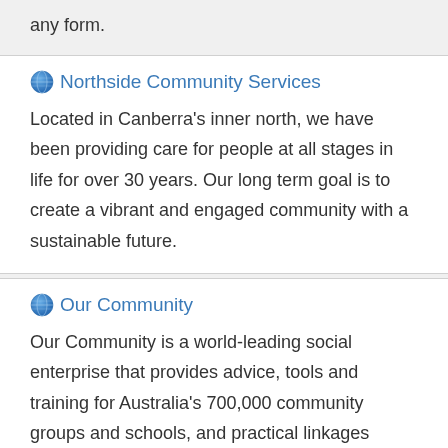any form.
Northside Community Services
Located in Canberra's inner north, we have been providing care for people at all stages in life for over 30 years. Our long term goal is to create a vibrant and engaged community with a sustainable future.
Our Community
Our Community is a world-leading social enterprise that provides advice, tools and training for Australia's 700,000 community groups and schools, and practical linkages between the community sector and the general public, business and government.
Queanbeyan-Palerang Regional Council